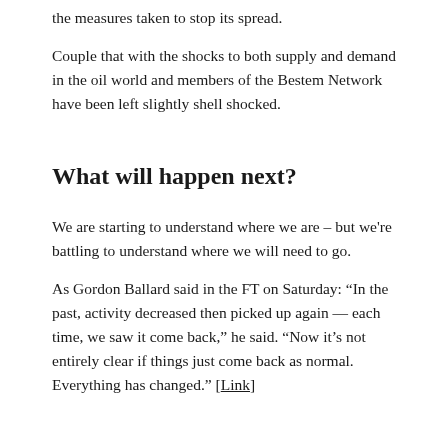the measures taken to stop its spread.
Couple that with the shocks to both supply and demand in the oil world and members of the Bestem Network have been left slightly shell shocked.
What will happen next?
We are starting to understand where we are – but we're battling to understand where we will need to go.
As Gordon Ballard said in the FT on Saturday: “In the past, activity decreased then picked up again — each time, we saw it come back,” he said. “Now it’s not entirely clear if things just come back as normal. Everything has changed.” [Link]